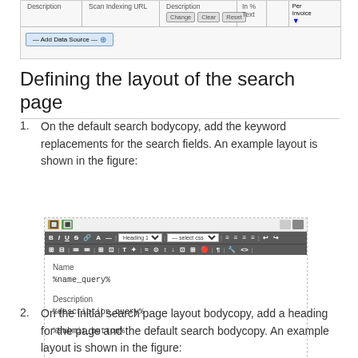[Figure (screenshot): Partial view of a data source configuration table with Change, Clear, Reset buttons and an Add Data Source control]
Defining the layout of the search page
On the default search bodycopy, add the keyword replacements for the search fields. An example layout is shown in the figure:
[Figure (screenshot): Editor screenshot showing a WYSIWYG editor with toolbar and content containing Name %name_query%, Description %description_query%, and %submit_button% placeholder fields]
On the initial search page layout bodycopy, add a heading for the page and the default search bodycopy. An example layout is shown in the figure: